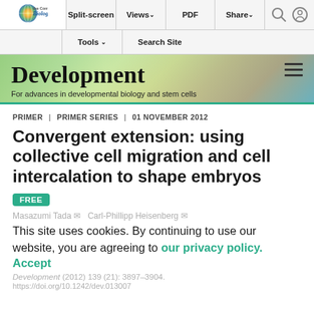Split-screen | Views | PDF | Share | Tools | Search Site
[Figure (logo): The Company of Biologists logo with globe graphic]
Development – For advances in developmental biology and stem cells
PRIMER | PRIMER SERIES | 01 NOVEMBER 2012
Convergent extension: using collective cell migration and cell intercalation to shape embryos
FREE
Masazumi Tada   Carl-Phillipp Heisenberg
This site uses cookies. By continuing to use our website, you are agreeing to our privacy policy. Accept
Development (2012) 139 (21): 3897–3904.
https://doi.org/10.1242/dev.013007